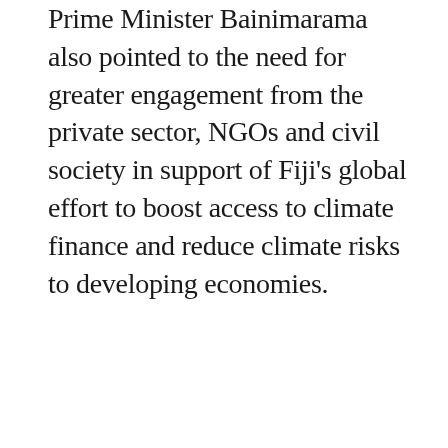Prime Minister Bainimarama also pointed to the need for greater engagement from the private sector, NGOs and civil society in support of Fiji's global effort to boost access to climate finance and reduce climate risks to developing economies.